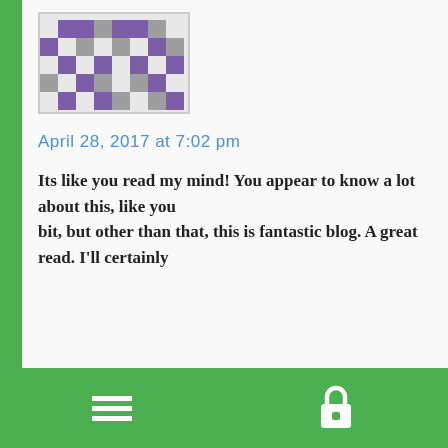[Figure (illustration): Pixel avatar icon - purple and grey mosaic pattern]
April 28, 2017 at 7:02 pm
Its like you read my mind! You appear to know a lot about this, like you bit, but other than that, this is fantastic blog. A great read. I'll certainly
[Figure (illustration): Pixel avatar icon - red and blue mosaic pattern for user Imber]
Imber says:
April 28, 2017 at 8:01 pm
I have recently started a blog, the info you offer on this website has help together faced with a heavy trial." by Charles De Gaulle.
[Figure (illustration): Footer navigation bar with hamburger menu icon and lock icon on green background]